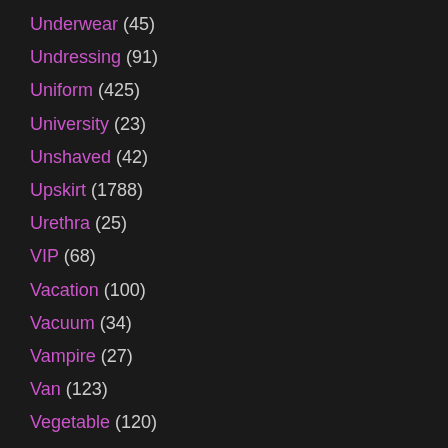Underwear (45)
Undressing (91)
Uniform (425)
University (23)
Unshaved (42)
Upskirt (1788)
Urethra (25)
VIP (68)
Vacation (100)
Vacuum (34)
Vampire (27)
Van (123)
Vegetable (120)
Vibrator (1057)
Vintage (3915)
Vintage Anal (502)